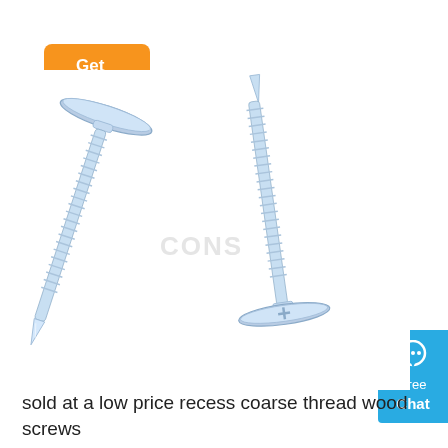Get Price
[Figure (photo): Two zinc-plated self-drilling screws with wafer heads shown side by side, one inverted to show the drill-point tip and one upright showing the Phillips recess head.]
Free Chat
sold at a low price recess coarse thread wood screws